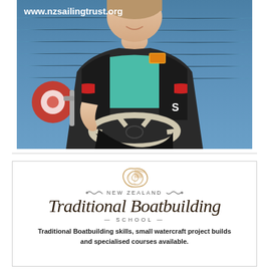[Figure (photo): A young person wearing a black and teal life vest, holding a boat steering wheel (helm), with blue ocean water visible in the background. The URL www.nzsailingtrust.org appears in white bold text at the top left of the image.]
[Figure (logo): New Zealand Traditional Boatbuilding School advertisement. Features a decorative shell/nautilus logo at top, ornate script title 'Traditional Boatbuilding' with 'NEW ZEALAND' in small caps and '— SCHOOL —' below, all inside a bordered box.]
Traditional Boatbuilding skills, small watercraft project builds and specialised courses available.